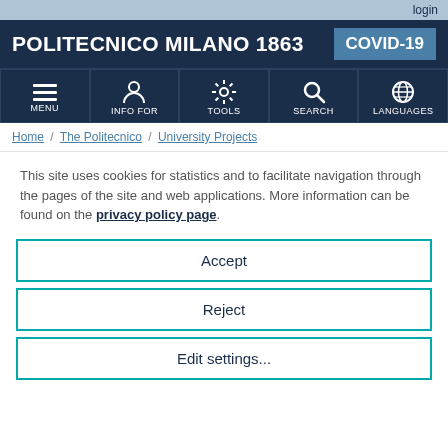login
POLITECNICO MILANO 1863
COVID-19
[Figure (screenshot): Navigation bar with icons for MENU, INFO FOR, TOOLS, SEARCH, LANGUAGES]
Home / The Politecnico / University Projects
This site uses cookies for statistics and to facilitate navigation through the pages of the site and web applications. More information can be found on the privacy policy page.
Accept
Reject
Edit settings...